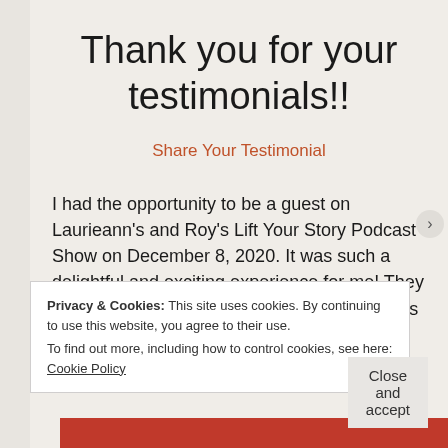Thank you for your testimonials!!
Share Your Testimonial
I had the opportunity to be a guest on Laurieann's and Roy's Lift Your Story Podcast Show on December 8, 2020. It was such a delightful and exciting experience for me! They were very friendly and eased my nervousness
Privacy & Cookies: This site uses cookies. By continuing to use this website, you agree to their use.
To find out more, including how to control cookies, see here: Cookie Policy
Close and accept